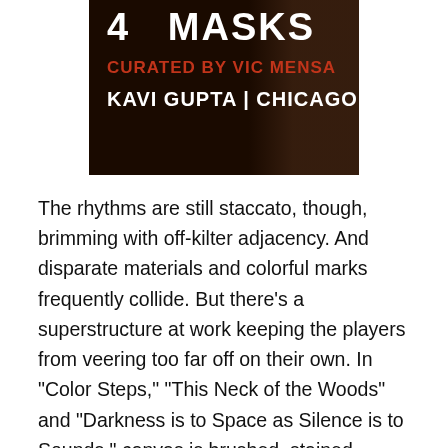[Figure (photo): A dark promotional poster image for an art exhibition featuring bold text: '4 MASKS' at top in white, 'CURATED BY VIC MENSA' in red/orange below, and 'KAVI GUPTA | CHICAGO' in white at bottom. Dark brownish background with a figure partially visible on the right.]
The rhythms are still staccato, though, brimming with off-kilter adjacency. And disparate materials and colorful marks frequently collide. But there’s a superstructure at work keeping the players from veering too far off on their own. In “Color Steps,” “This Neck of the Woods” and “Darkness is to Space as Silence is to Sounds,” canvas is brushed, stained, splattered and slashed. The fragments are recomposed, quilt-like, into large-scale works that alternate with the progressive beat